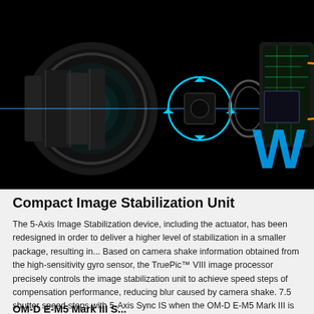[Figure (illustration): Exploded diagram of a camera with a large telephoto lens on the left, showing internal optical elements, image stabilization unit represented by blue light rays and arrows, and the camera body on the right with a circuit board. A large cyan letter 'W' partially visible on the right side of the dark background.]
Compact Image Stabilization Unit
The 5-Axis Image Stabilization device, including the actuator, has been redesigned in order to deliver a higher level of stabilization in a smaller package, resulting in... Based on camera shake information obtained from the high-sensitivity gyro sensor, the TruePic™ VIII image processor precisely controls the image stabilization unit to achieve speed steps of compensation performance, reducing blur caused by camera shake. 7.5 shutter speed steps with 5-Axis Sync IS when the OM-D E-M5 Mark III is paired with a lens equipped with in-lens image stabilization .